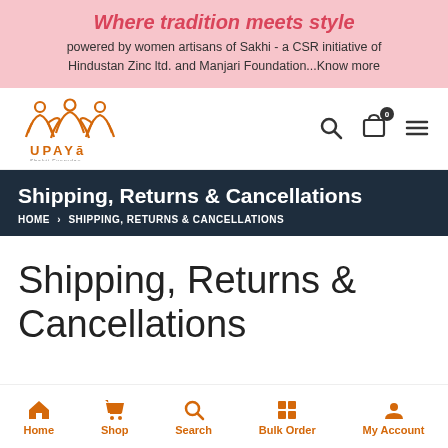Where tradition meets style — powered by women artisans of Sakhi - a CSR initiative of Hindustan Zinc ltd. and Manjari Foundation...Know more
[Figure (logo): Upaya logo with orange figures and text UPAYA]
Shipping, Returns & Cancellations
HOME > SHIPPING, RETURNS & CANCELLATIONS
Shipping, Returns & Cancellations
Home  Shop  Search  Bulk Order  My Account